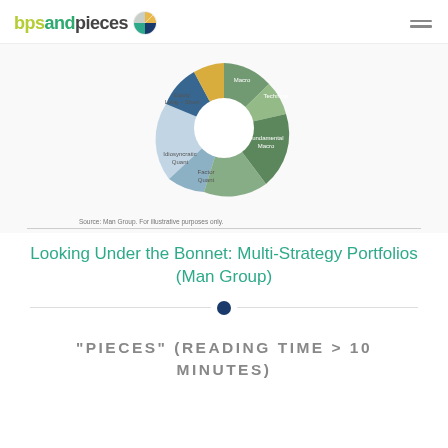bpsandpieces
[Figure (pie-chart): Donut/pie chart showing multi-strategy portfolio segments: Macro, Technical, Fundamental Macro, Factor Quant, Idiosyncratic Quant, Systematic Micro, Equity Long-Short]
Source: Man Group. For illustrative purposes only.
Looking Under the Bonnet: Multi-Strategy Portfolios (Man Group)
"PIECES" (READING TIME > 10 MINUTES)